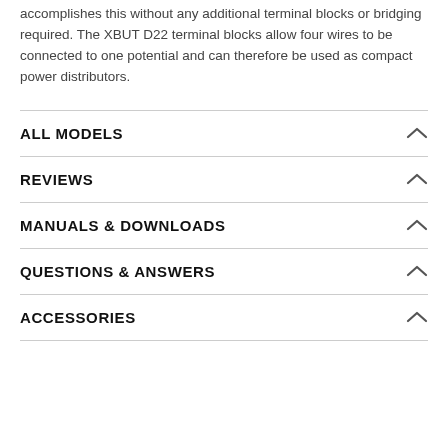accomplishes this without any additional terminal blocks or bridging required. The XBUT D22 terminal blocks allow four wires to be connected to one potential and can therefore be used as compact power distributors.
ALL MODELS
REVIEWS
MANUALS & DOWNLOADS
QUESTIONS & ANSWERS
ACCESSORIES